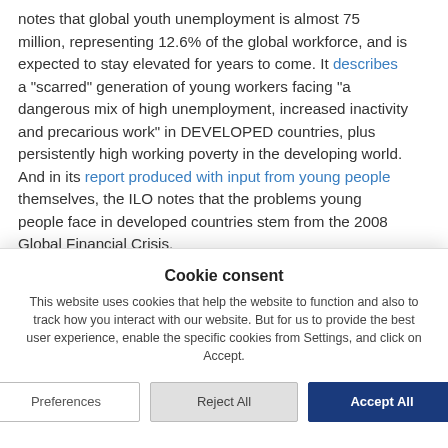notes that global youth unemployment is almost 75 million, representing 12.6% of the global workforce, and is expected to stay elevated for years to come. It describes a "scarred" generation of young workers facing "a dangerous mix of high unemployment, increased inactivity and precarious work" in DEVELOPED countries, plus persistently high working poverty in the developing world. And in its report produced with input from young people themselves, the ILO notes that the problems young people face in developed countries stem from the 2008 Global Financial Crisis.
The EU has also produced a useful report explaining its
Cookie consent
This website uses cookies that help the website to function and also to track how you interact with our website. But for us to provide the best user experience, enable the specific cookies from Settings, and click on Accept.